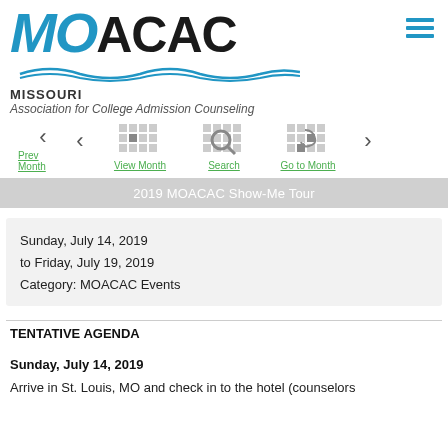[Figure (logo): MOACAC logo with MO in blue italic, ACAC in black bold, wave graphic below, Missouri Association for College Admission Counseling text]
[Figure (infographic): Navigation bar with Prev Month, View Month, Search, Go to Month, Next Month calendar navigation icons and links]
2019 MOACAC Show-Me Tour
Sunday, July 14, 2019
to Friday, July 19, 2019
Category: MOACAC Events
TENTATIVE AGENDA
Sunday, July 14, 2019
Arrive in St. Louis, MO and check in to the hotel (counselors